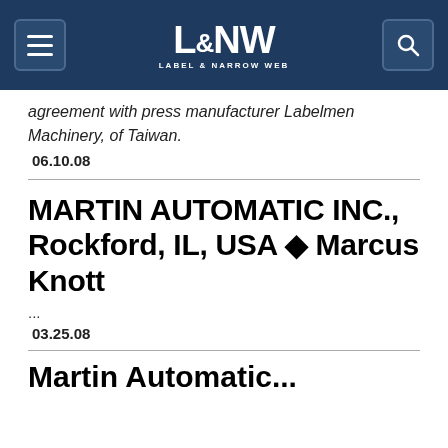L&NW LABEL & NARROW WEB
agreement with press manufacturer Labelmen Machinery, of Taiwan.
06.10.08
MARTIN AUTOMATIC INC., Rockford, IL, USA ◆ Marcus Knott
...
03.25.08
Martin Automatic...